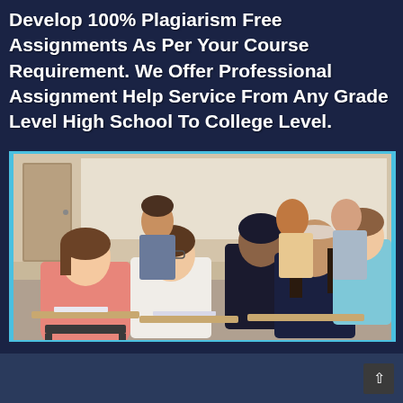Develop 100% Plagiarism Free Assignments As Per Your Course Requirement. We Offer Professional Assignment Help Service From Any Grade Level High School To College Level.
[Figure (photo): Classroom photo showing students seated at desks. Several students including girls in pink and white tops and a boy in a light blue hoodie are visible. Students appear to be at the high school or college level, smiling and attentive.]